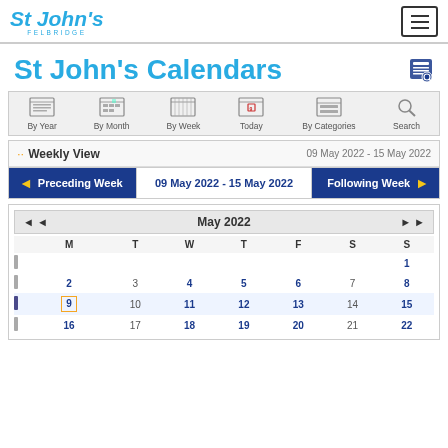St John's Felbridge | Navigation menu
St John's Calendars
[Figure (screenshot): Calendar navigation bar with icons: By Year, By Month, By Week, Today, By Categories, Search]
Weekly View   09 May 2022 - 15 May 2022
Preceding Week | 09 May 2022 - 15 May 2022 | Following Week
[Figure (other): Mini calendar showing May 2022 with dates 1-22 visible, week of 9-15 May highlighted]